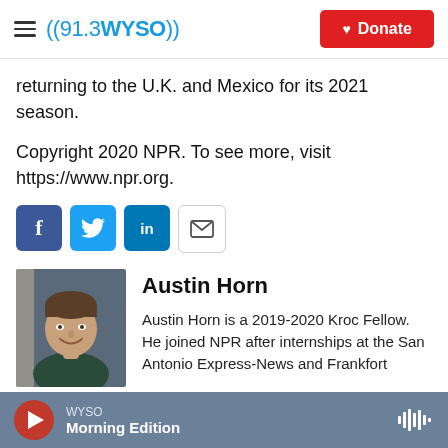91.3 WYSO | Donate
returning to the U.K. and Mexico for its 2021 season.
Copyright 2020 NPR. To see more, visit https://www.npr.org.
[Figure (infographic): Social share buttons: Facebook (blue), Twitter (blue), LinkedIn (blue), Email (outline)]
[Figure (photo): Headshot of Austin Horn, a young man in a dark shirt, smiling, with a grey/blue background]
Austin Horn
Austin Horn is a 2019-2020 Kroc Fellow. He joined NPR after internships at the San Antonio Express-News and Frankfort
WYSO  Morning Edition